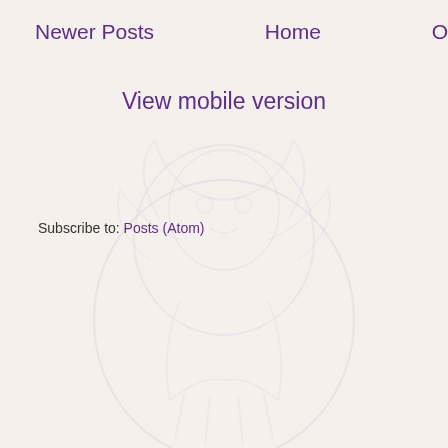Newer Posts   Home   O
View mobile version
Subscribe to: Posts (Atom)
[Figure (illustration): Faint watermark illustration of a lion or mascot figure in the background]